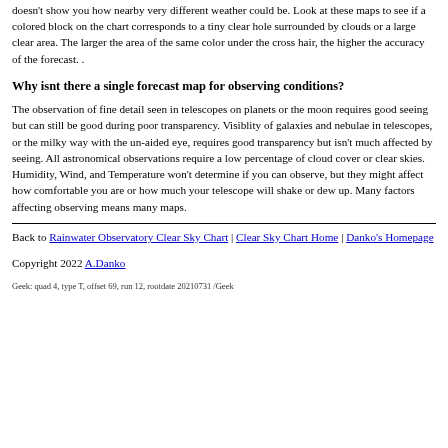doesn't show you how nearby very different weather could be. Look at these maps to see if a colored block on the chart corresponds to a tiny clear hole surrounded by clouds or a large clear area. The larger the area of the same color under the cross hair, the higher the accuracy of the forecast. .
Why isnt there a single forecast map for observing conditions?
The observation of fine detail seen in telescopes on planets or the moon requires good seeing but can still be good during poor transparency. Visiblity of galaxies and nebulae in telescopes, or the milky way with the un-aided eye, requires good transparency but isn't much affected by seeing. All astronomical observations require a low percentage of cloud cover or clear skies. Humidity, Wind, and Temperature won't determine if you can observe, but they might affect how comfortable you are or how much your telescope will shake or dew up. Many factors affecting observing means many maps.
Back to Rainwater Observatory Clear Sky Chart | Clear Sky Chart Home | Danko's Homepage
Copyright 2022 A.Danko
Geek: quad 4, type T, offset 69, run 12, rootdate 20210731 /Geek